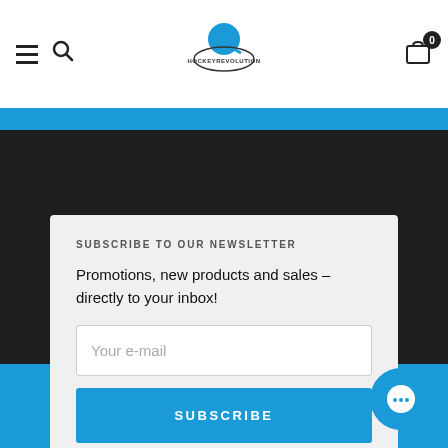[Figure (logo): HockeyRevolution logo with hockey player graphic]
SUBSCRIBE TO OUR NEWSLETTER
Promotions, new products and sales – directly to your inbox!
Your e-mail
SUBSCRIBE
ADD TO CART